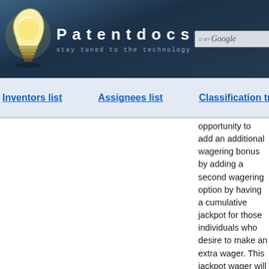Patentdocs — stay tuned to the technology
Inventors list | Assignees list | Classification tree browser
opportunity to add an additional wagering bonus by adding a second wagering option by having a cumulative jackpot for those individuals who desire to make an extra wager. This jackpot wager will only pay a percentage of the jackpot for various premium hands obtained by the player, [0041]Gee Joon (also called supreme) wild 3 tile with wild 6 tile with 12 tile with 12 [0042]Gee Joon wild 3 tile with wild 6 tile with 11 tile with 11 [0043]Gee Joon wild 3 tile with wild 6 tile with 10 black tile with 10 black [0044]Gee Joon wild 3 tile with wild 6 tile with...